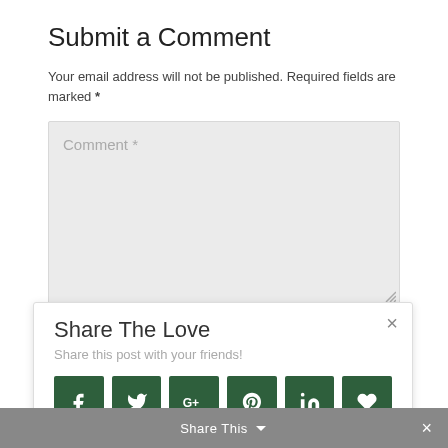Submit a Comment
Your email address will not be published. Required fields are marked *
[Figure (screenshot): Comment text area input field with placeholder text 'Comment *' and a resize handle at bottom right. Background is light grey (#ebebeb).]
[Figure (infographic): Share The Love popup overlay with close button (×), subtitle 'Share this post with your friends!', and six dark green social share icon buttons: Facebook (f), Twitter (bird), Google+ (G+), Pinterest (P), LinkedIn (in), Heart/Like.]
Share This
Share This ×